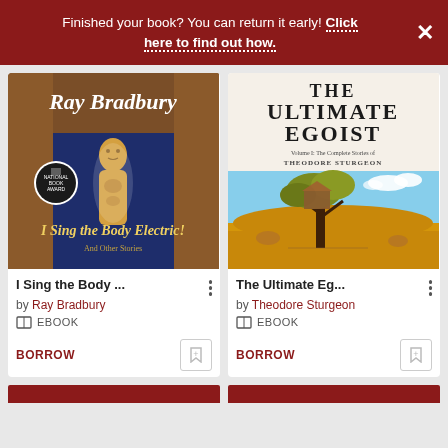Finished your book? You can return it early! Click here to find out how.
[Figure (illustration): Book cover: I Sing the Body Electric! by Ray Bradbury — dark blue/brown cover with golden mummy figure, National Book Award seal]
I Sing the Body ... by Ray Bradbury EBOOK BORROW
[Figure (illustration): Book cover: The Ultimate Egoist, Volume I: The Complete Stories of Theodore Sturgeon — white top with title text, lower half showing a house growing from a large tree in a golden field]
The Ultimate Eg... by Theodore Sturgeon EBOOK BORROW